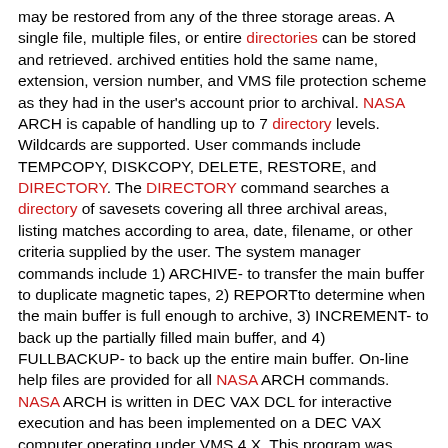may be restored from any of the three storage areas. A single file, multiple files, or entire directories can be stored and retrieved. archived entities hold the same name, extension, version number, and VMS file protection scheme as they had in the user's account prior to archival. NASA ARCH is capable of handling up to 7 directory levels. Wildcards are supported. User commands include TEMPCOPY, DISKCOPY, DELETE, RESTORE, and DIRECTORY. The DIRECTORY command searches a directory of savesets covering all three archival areas, listing matches according to area, date, filename, or other criteria supplied by the user. The system manager commands include 1) ARCHIVE- to transfer the main buffer to duplicate magnetic tapes, 2) REPORTto determine when the main buffer is full enough to archive, 3) INCREMENT- to back up the partially filled main buffer, and 4) FULLBACKUP- to back up the entire main buffer. On-line help files are provided for all NASA ARCH commands. NASA ARCH is written in DEC VAX DCL for interactive execution and has been implemented on a DEC VAX computer operating under VMS 4.X. This program was developed in 1985.
10. NSF-RANN Trace Contaminants Program directory. [Personnel directory